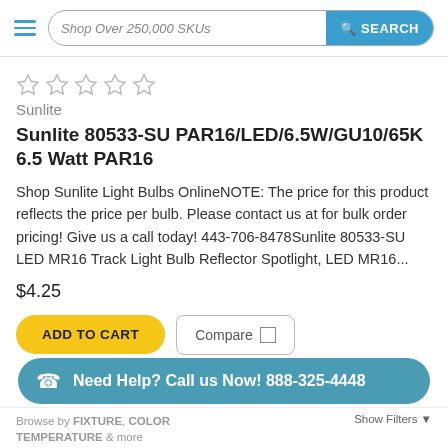Shop Over 250,000 SKUs | SEARCH
[Figure (other): Five empty star rating icons (no stars filled)]
Sunlite
Sunlite 80533-SU PAR16/LED/6.5W/GU10/65K 6.5 Watt PAR16
Shop Sunlite Light Bulbs OnlineNOTE: The price for this product reflects the price per bulb. Please contact us at for bulk order pricing! Give us a call today! 443-706-8478Sunlite 80533-SU LED MR16 Track Light Bulb Reflector Spotlight, LED MR16...
$4.25
ADD TO CART
Compare
Need Help? Call us Now! 888-325-4448
Browse by FIXTURE, COLOR TEMPERATURE & more
Show Filters